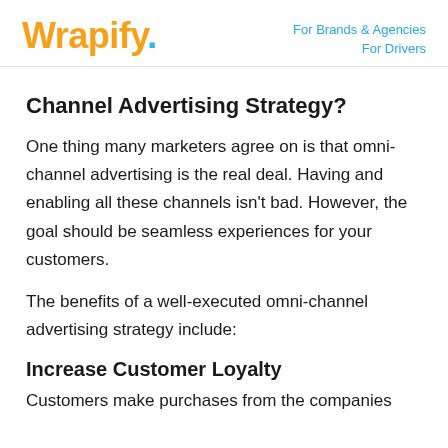Wrapify | For Brands & Agencies | For Drivers
Channel Advertising Strategy?
One thing many marketers agree on is that omni-channel advertising is the real deal. Having and enabling all these channels isn't bad. However, the goal should be seamless experiences for your customers.
The benefits of a well-executed omni-channel advertising strategy include:
Increase Customer Loyalty
Customers make purchases from the companies